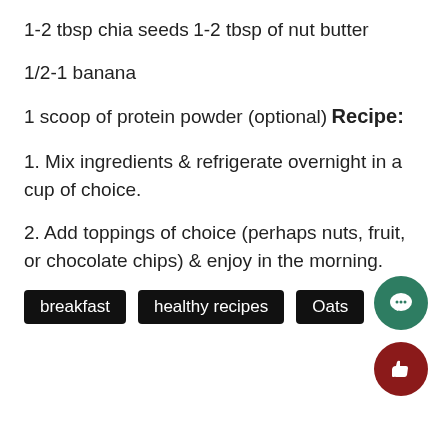1-2 tbsp chia seeds
1-2 tbsp of nut butter
1/2-1 banana
1 scoop of protein powder (optional)
Recipe:
1. Mix ingredients & refrigerate overnight in a cup of choice.
2. Add toppings of choice (perhaps nuts, fruit, or chocolate chips) & enjoy in the morning.
breakfast   healthy recipes   Oats